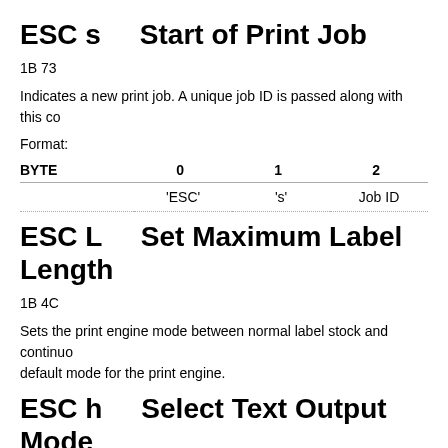ESC s    Start of Print Job
1B 73
Indicates a new print job. A unique job ID is passed along with this co
Format:
| BYTE | 0 | 1 | 2 |
| --- | --- | --- | --- |
|  | 'ESC' | 's' | Job ID |
ESC L    Set Maximum Label Length
1B 4C
Sets the print engine mode between normal label stock and continuo default mode for the print engine.
ESC h    Select Text Output Mode